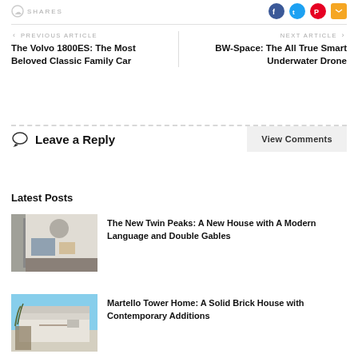SHARES
< PREVIOUS ARTICLE
The Volvo 1800ES: The Most Beloved Classic Family Car
NEXT ARTICLE >
BW-Space: The All True Smart Underwater Drone
Leave a Reply
View Comments
Latest Posts
The New Twin Peaks: A New House with A Modern Language and Double Gables
Martello Tower Home: A Solid Brick House with Contemporary Additions